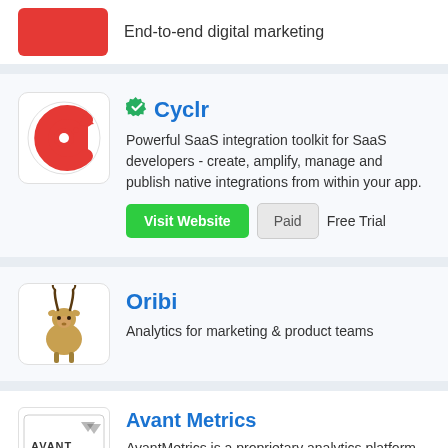End-to-end digital marketing
[Figure (logo): Cyclr app logo - red circular C shape with arrow]
Cyclr
Powerful SaaS integration toolkit for SaaS developers - create, amplify, manage and publish native integrations from within your app.
Visit Website  Paid  Free Trial
[Figure (logo): Oribi app logo - stylized antelope/gazelle head]
Oribi
Analytics for marketing & product teams
[Figure (logo): Avant Metrics logo - text logo with graphic element]
Avant Metrics
AvantMetrics is a proprietary analytics platform that provides advanced click stream intelligence and multi-network affiliate attribution.